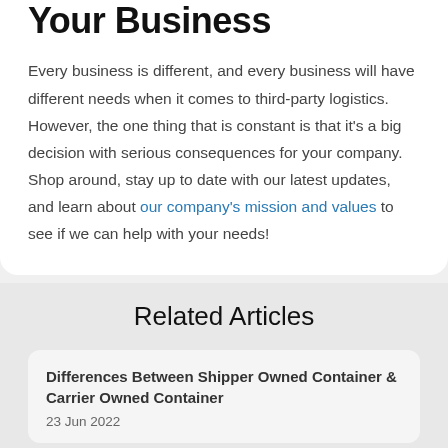Your Business
Every business is different, and every business will have different needs when it comes to third-party logistics. However, the one thing that is constant is that it's a big decision with serious consequences for your company. Shop around, stay up to date with our latest updates, and learn about our company's mission and values to see if we can help with your needs!
Related Articles
Differences Between Shipper Owned Container & Carrier Owned Container
23 Jun 2022